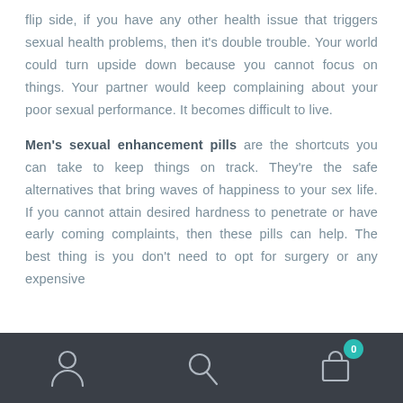flip side, if you have any other health issue that triggers sexual health problems, then it's double trouble. Your world could turn upside down because you cannot focus on things. Your partner would keep complaining about your poor sexual performance. It becomes difficult to live.
Men's sexual enhancement pills are the shortcuts you can take to keep things on track. They're the safe alternatives that bring waves of happiness to your sex life. If you cannot attain desired hardness to penetrate or have early coming complaints, then these pills can help. The best thing is you don't need to opt for surgery or any expensive
[Figure (other): Mobile app bottom navigation bar with dark background containing three icons: a person/user icon on the left, a search/magnifying glass icon in the center, and a shopping bag/cart icon on the right with a teal badge showing the number 0.]